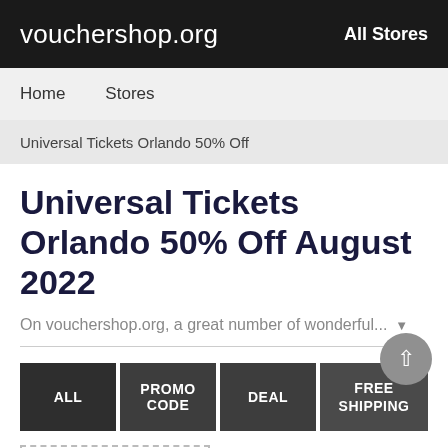vouchershop.org    All Stores
Home    Stores
Universal Tickets Orlando 50% Off
Universal Tickets Orlando 50% Off August 2022
On vouchershop.org, a great number of wonderful...
ALL    PROMO CODE    DEAL    FREE SHIPPING
[Figure (screenshot): Dashed border voucher card placeholder at bottom left]